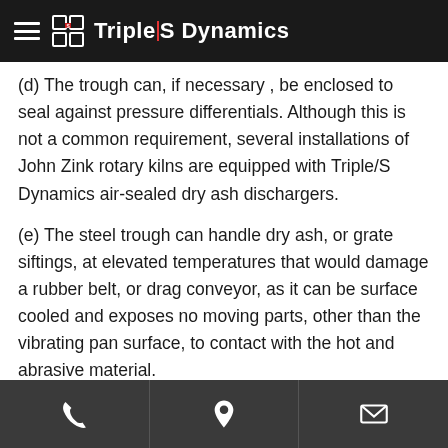Triple|S Dynamics
(d) The trough can, if necessary , be enclosed to seal against pressure differentials. Although this is not a common requirement, several installations of John Zink rotary kilns are equipped with Triple/S Dynamics air-sealed dry ash dischargers.
(e) The steel trough can handle dry ash, or grate siftings, at elevated temperatures that would damage a rubber belt, or drag conveyor, as it can be surface cooled and exposes no moving parts, other than the vibrating pan surface, to contact with the hot and abrasive material.
Phone | Location | Email